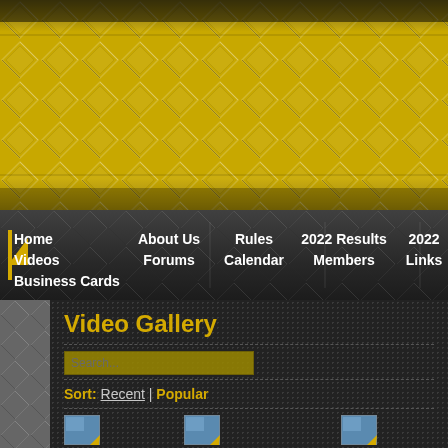[Figure (screenshot): Yellow and grey diamond-plate textured header banner at top of page]
Home Videos Business Cards | About Us Forums | Rules Calendar | 2022 Results Members | 2022 Links
Video Gallery
Search...
Sort: Recent | Popular
Pevely 2013
Doe Run 9-21-2012
TR...